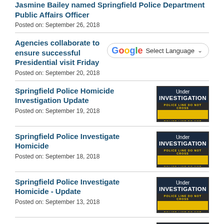Jasmine Bailey named Springfield Police Department Public Affairs Officer
Posted on: September 26, 2018
Agencies collaborate to ensure successful Presidential visit Friday
Posted on: September 20, 2018
[Figure (other): Google Translate Select Language widget]
Springfield Police Homicide Investigation Update
Posted on: September 19, 2018
[Figure (illustration): Under Investigation image with police tape]
Springfield Police Investigate Homicide
Posted on: September 18, 2018
[Figure (illustration): Under Investigation image with police tape]
Springfield Police Investigate Homicide - Update
Posted on: September 13, 2018
[Figure (illustration): Under Investigation image with police tape]
Springfield Police Investigate